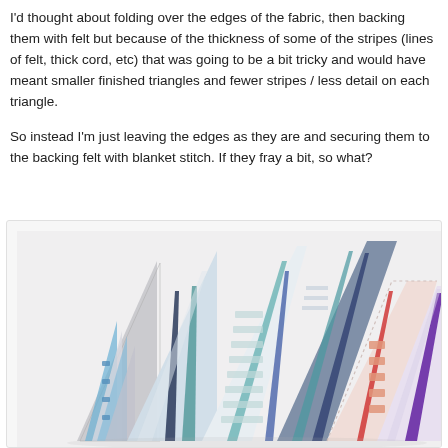I'd thought about folding over the edges of the fabric, then backing them with felt but because of the thickness of some of the stripes (lines of felt, thick cord, etc) that was going to be a bit tricky and would have meant smaller finished triangles and fewer stripes / less detail on each triangle.

So instead I'm just leaving the edges as they are and securing them to the backing felt with blanket stitch. If they fray a bit, so what?
[Figure (photo): A fan arrangement of several fabric triangles (bunting pennants) showing various striped textile patterns in blue, teal, grey, white, pink, red, and purple colors spread out on a light background.]